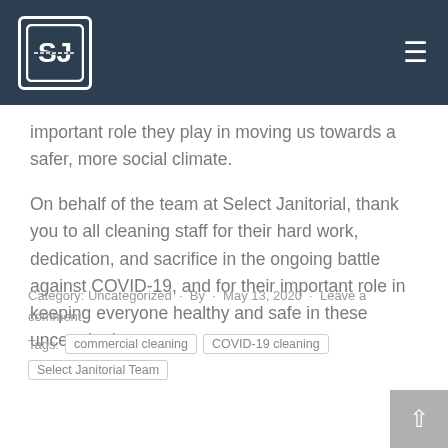Select Janitorial Inc. — navigation header
important role they play in moving us towards a safer, more social climate.
On behalf of the team at Select Janitorial, thank you to all cleaning staff for their hard work, dedication, and sacrifice in the ongoing battle against COVID-19, and for their important role in keeping everyone healthy and safe in these uncertain times.
Category: Uncategorized · By · May 13, 2020 · Leave a comment
Tags: commercial cleaning   COVID-19 cleaning   Select Janitorial Team